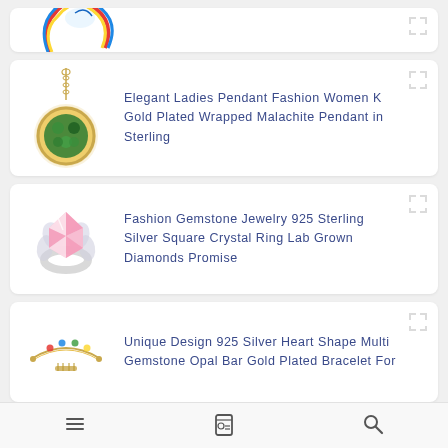[Figure (photo): Partial top product card showing a partial jewelry image (appears to be a colorful bracelet or necklace), cropped at top]
Elegant Ladies Pendant Fashion Women K Gold Plated Wrapped Malachite Pendant in Sterling
Fashion Gemstone Jewelry 925 Sterling Silver Square Crystal Ring Lab Grown Diamonds Promise
Unique Design 925 Silver Heart Shape Multi Gemstone Opal Bar Gold Plated Bracelet For
[Figure (photo): Partial bottom product card, mostly white space, beginning of another product listing]